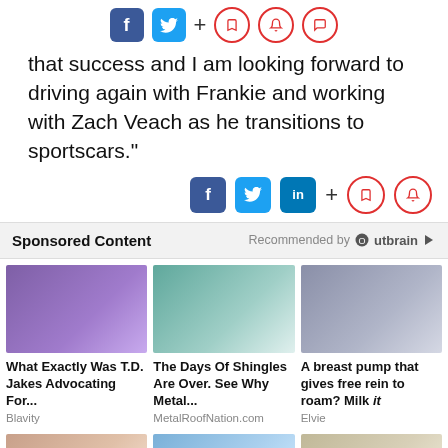[Figure (infographic): Social sharing icons: Facebook (blue square), Twitter (blue square), plus sign, bookmark circle (red outline), notification bell circle (red outline), speech bubble circle (red outline)]
that success and I am looking forward to driving again with Frankie and working with Zach Veach as he transitions to sportscars."
[Figure (infographic): Social sharing icons: Facebook, Twitter, LinkedIn (filled buttons), plus sign, bookmark circle (red outline), notification bell circle (red outline)]
Sponsored Content  Recommended by Outbrain
[Figure (photo): Man in suit speaking on stage with purple lighting]
[Figure (photo): Metal roof tiles comparison showing traditional and metal roofing]
[Figure (photo): Woman in green outfit sitting on a chair]
What Exactly Was T.D. Jakes Advocating For...
Blavity
The Days Of Shingles Are Over. See Why Metal...
MetalRoofNation.com
A breast pump that gives free rein to roam? Milk it
Elvie
[Figure (photo): Woman with hair up, partial view at bottom]
[Figure (photo): Woman in bikini on beach, partial view at bottom]
[Figure (photo): Woman with light hair, partial view at bottom]